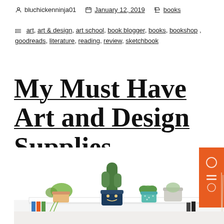bluchickenninja01   January 12, 2019   books
art, art & design, art school, book blogger, books, bookshop, goodreads, literature, reading, review, sketchbook
My Must Have Art and Design Supplies
[Figure (photo): Shelf with decorative potted plants including a cactus in a dark blue face pot, a small succulent in a teal dotted pot, a string-of-pearls plant in a terracotta pot, and an orange tote bag with white graphic patterns on the right side.]